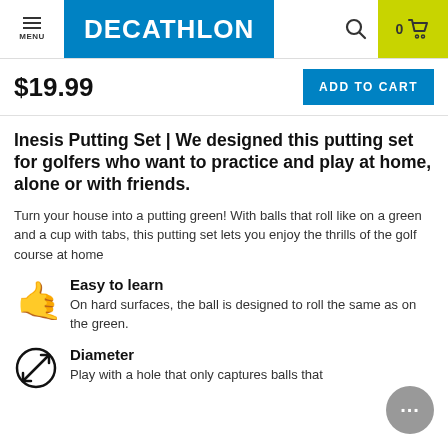MENU | DECATHLON | Search | 0 Cart
$19.99
ADD TO CART
Inesis Putting Set | We designed this putting set for golfers who want to practice and play at home, alone or with friends.
Turn your house into a putting green! With balls that roll like on a green and a cup with tabs, this putting set lets you enjoy the thrills of the golf course at home
Easy to learn
On hard surfaces, the ball is designed to roll the same as on the green.
Diameter
Play with a hole that only captures balls that